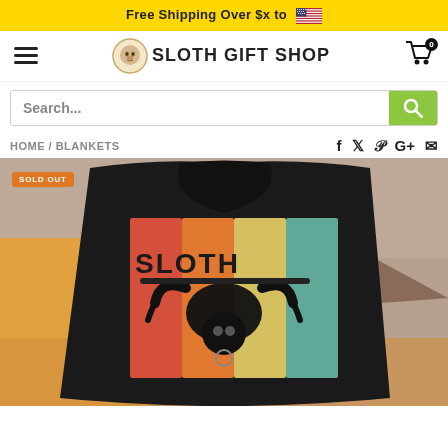Free Shipping Over $x to 🇺🇸
[Figure (logo): Sloth Gift Shop logo with sloth face icon and text]
Search...
HOME / BLANKETS
f  t  p  G+  email (social share icons)
[Figure (photo): Hooded blanket with retro sloth design showing colorful vertical stripes (red, orange, yellow, teal) with 'SLOTH' text and hanging sloth silhouette. Background shows mountain landscape with trees. SOLD OUT badge in top left corner.]